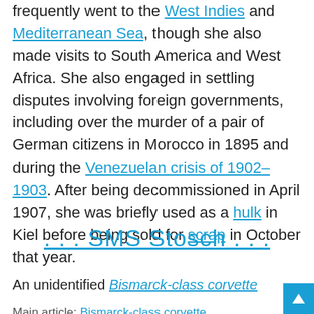frequently went to the West Indies and Mediterranean Sea, though she also made visits to South America and West Africa. She also engaged in settling disputes involving foreign governments, including over the murder of a pair of German citizens in Morocco in 1895 and during the Venezuelan crisis of 1902–1903. After being decommissioned in April 1907, she was briefly used as a hulk in Kiel before being sold for scrap in October that year.
. . . SMS Stosch . . .
An unidentified Bismarck-class corvette
Main article: Bismarck-class corvette
The six ships of the Bismarck class were ordered in the early 1870s to supplement Germany's fleet of cruising warships, which at that time relied on several ships that were twenty years old. Stosch and her sister ships were intended to patrol
We use cookies to ensure that we give you the best experience on our website. If you continue to use this site we will assume that you are happy with it.
Ok